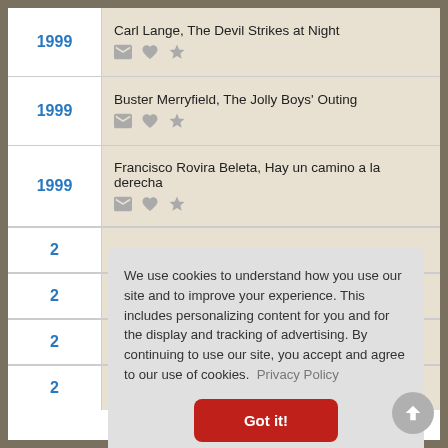1999 — Carl Lange, The Devil Strikes at Night
1999 — Buster Merryfield, The Jolly Boys' Outing
1999 — Francisco Rovira Beleta, Hay un camino a la derecha
We use cookies to understand how you use our site and to improve your experience. This includes personalizing content for you and for the display and tracking of advertising. By continuing to use our site, you accept and agree to our use of cookies.  Privacy Policy
Got it!